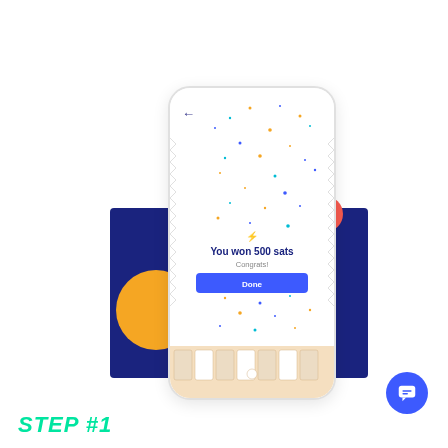[Figure (screenshot): Mobile app screenshot showing a reward screen: 'You won 500 sats' with 'Congrats!' message and a blue 'Done' button, surrounded by confetti. Blue decorative rectangles flank the phone, with a yellow circle, red circle, and play triangle on the sides. A blue chat icon appears bottom right. 'STEP #1' text partially visible at bottom left in teal/green.]